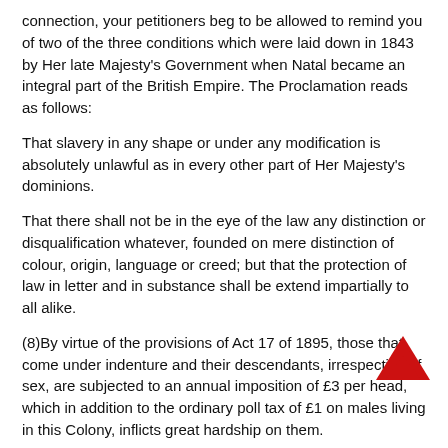connection, your petitioners beg to be allowed to remind you of two of the three conditions which were laid down in 1843 by Her late Majesty's Government when Natal became an integral part of the British Empire. The Proclamation reads as follows:
That slavery in any shape or under any modification is absolutely unlawful as in every other part of Her Majesty's dominions.
That there shall not be in the eye of the law any distinction or disqualification whatever, founded on mere distinction of colour, origin, language or creed; but that the protection of law in letter and in substance shall be extend impartially to all alike.
(8)By virtue of the provisions of Act 17 of 1895, those that come under indenture and their descendants, irrespective of sex, are subjected to an annual imposition of £3 per head, which in addition to the ordinary poll tax of £1 on males living in this Colony, inflicts great hardship on them.
(9)Defaulters of payment of this annual imposition, unlike others of similar offences, who are dealt with under the Small Debts Act in conformity with the civil process, are thrown into prison without discrimination to sex, and without regard for the merits